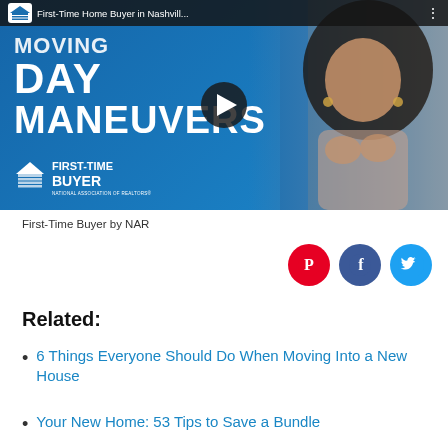[Figure (screenshot): YouTube video thumbnail showing 'First-Time Home Buyer in Nashvill...' with text 'MOVING DAY MANEUVERS' and First-Time Buyer by NAR logo. A young woman with curly hair and crossed fingers appears on the right side. A play button is centered on the thumbnail.]
First-Time Buyer by NAR
[Figure (other): Social share icons: Pinterest (red circle with P), Facebook (dark blue circle with f), Twitter (light blue circle with bird)]
Related:
6 Things Everyone Should Do When Moving Into a New House
Your New Home: 53 Tips to Save a Bundle